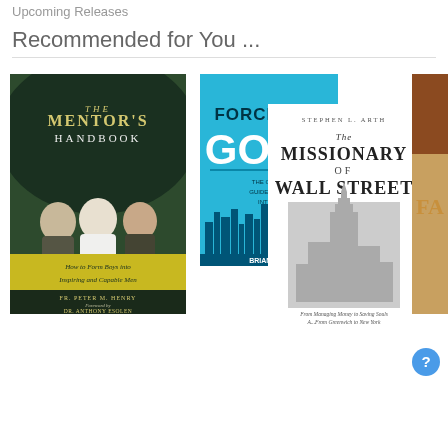Upcoming Releases
Recommended for You ...
[Figure (photo): Book cover: The Mentor's Handbook — How to Form Boys into Inspiring and Capable Men by Fr. Peter M. Henry, Foreword by Dr. Anthony Esolen. Dark green cover with three young men sitting together.]
[Figure (photo): Book cover: Force for Good — The Catholic Guide to Business Intelligence by Brian En[gland]. Cyan/turquoise cover with city skyline silhouette.]
[Figure (photo): Book cover: The Missionary of Wall Street by Stephen L. Arth. Grey/white cover with Empire State Building, subtitle: From Managing Money to Saving Souls... From Greenwich to New York.]
[Figure (photo): Partially visible book cover (cropped at right edge), appears to show a warm-toned cover with letters FA visible.]